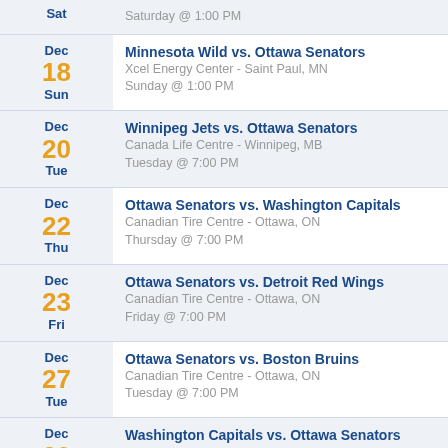| Date | Game |
| --- | --- |
| Sat | Saturday @ 1:00 PM |
| Dec 18 Sun | Minnesota Wild vs. Ottawa Senators
Xcel Energy Center - Saint Paul, MN
Sunday @ 1:00 PM |
| Dec 20 Tue | Winnipeg Jets vs. Ottawa Senators
Canada Life Centre - Winnipeg, MB
Tuesday @ 7:00 PM |
| Dec 22 Thu | Ottawa Senators vs. Washington Capitals
Canadian Tire Centre - Ottawa, ON
Thursday @ 7:00 PM |
| Dec 23 Fri | Ottawa Senators vs. Detroit Red Wings
Canadian Tire Centre - Ottawa, ON
Friday @ 7:00 PM |
| Dec 27 Tue | Ottawa Senators vs. Boston Bruins
Canadian Tire Centre - Ottawa, ON
Tuesday @ 7:00 PM |
| Dec 29 Thu | Washington Capitals vs. Ottawa Senators
Capital One Arena - Washington, DC
Thursday @ 7:00 PM |
| Dec 31 Sat | Detroit Red Wings vs. Ottawa Senators
Little Caesars Arena - Detroit, MI
Saturday @ 7:00 PM |